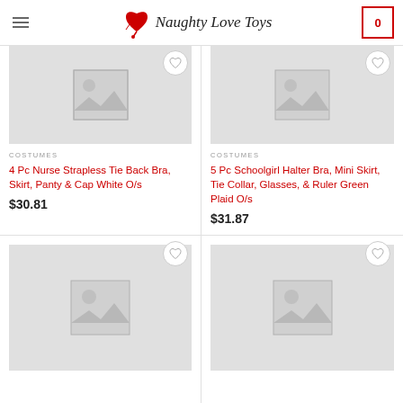Naughty Love Toys
[Figure (screenshot): Product card: placeholder image for nurse costume]
COSTUMES
4 Pc Nurse Strapless Tie Back Bra, Skirt, Panty & Cap White O/s
$30.81
[Figure (screenshot): Product card: placeholder image for schoolgirl costume]
COSTUMES
5 Pc Schoolgirl Halter Bra, Mini Skirt, Tie Collar, Glasses, & Ruler Green Plaid O/s
$31.87
[Figure (screenshot): Product card: placeholder image bottom left]
[Figure (screenshot): Product card: placeholder image bottom right]